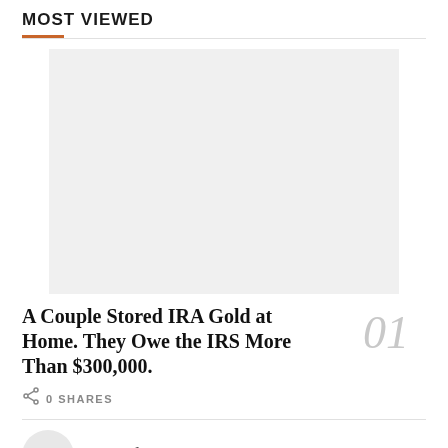MOST VIEWED
[Figure (photo): Gray placeholder image for the featured article thumbnail]
A Couple Stored IRA Gold at Home. They Owe the IRS More Than $300,000.
0 SHARES
A California Couple Spent Eight Years